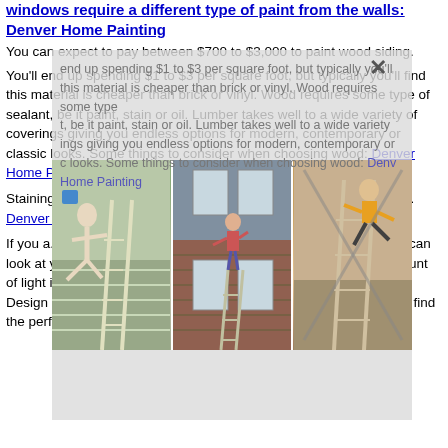windows require a different type of paint from the walls: Denver Home Painting
You can expect to pay between $700 to $3,000 to paint wood siding. You'll end up spending $1 to $3 per square foot, but typically you'll find this material is cheaper than brick or vinyl. Wood requires some type of sealant, be it paint, stain or oil. Lumber takes well to a wide variety of coverings giving you endless options for modern, contemporary or classic looks. Some things to consider when choosing wood: Denver Home Painting...
[Figure (photo): Three photos showing people painting house exteriors on ladders, arranged side by side in a modal overlay]
Staining... might... by co... run an... wheth... you m... painte... proje... Denver Home...
If you a... may wish to hire an interior decorator to help. Decorators can look at your furnishings, the size and shape of a room, and the amount of light it gets to help you determine the best shades for the space. Design services cost around $50 to $200 an hour, and can help you find the perfect colors